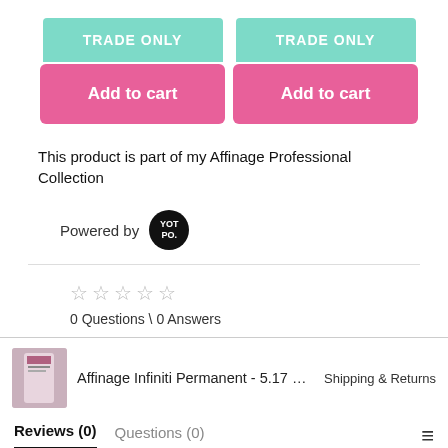TRADE ONLY
Add to cart
TRADE ONLY
Add to cart
This product is part of my Affinage Professional Collection
Powered by YOTPO.
0 Questions \ 0 Answers
Affinage Infiniti Permanent - 5.17 LIG...
Shipping & Returns
Reviews (0)
Questions (0)